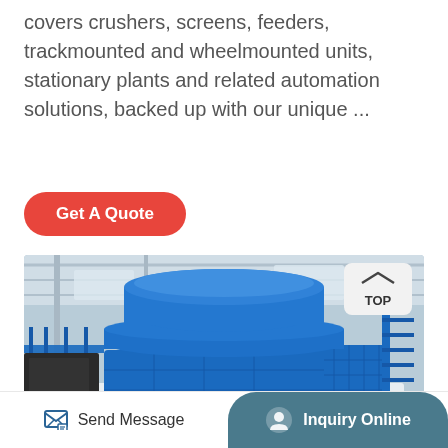for over 30 years. Our comprehensive portfolio covers crushers, screens, feeders, trackmounted and wheelmounted units, stationary plants and related automation solutions, backed up with our unique ...
[Figure (other): Red rounded rectangle button labeled 'Get A Quote']
[Figure (photo): Large blue industrial crushing/screening machine (VSI or cone crusher) on a white base frame inside a factory building. Blue structural components, grating walkways, and metal framework visible.]
Send Message   Inquiry Online